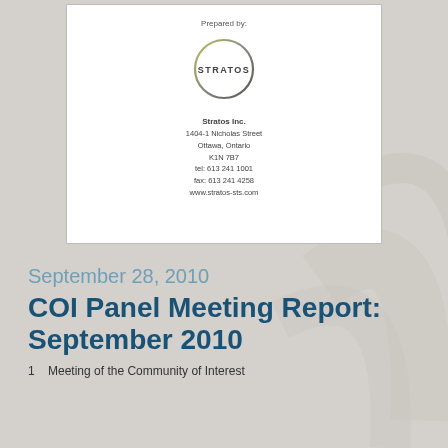[Figure (logo): Stratos Inc. company logo: circle with 'STRATOS' text inside, olive/grey gradient border]
Prepared by:
Stratos Inc.
1404-1 Nicholas Street
Ottawa, Ontario
K1N 7B7
tel: 613 241 1001
fax: 613 241 4258
www.stratos-sts.com
September 28, 2010
COI Panel Meeting Report: September 2010
Meeting of the Community of Interest